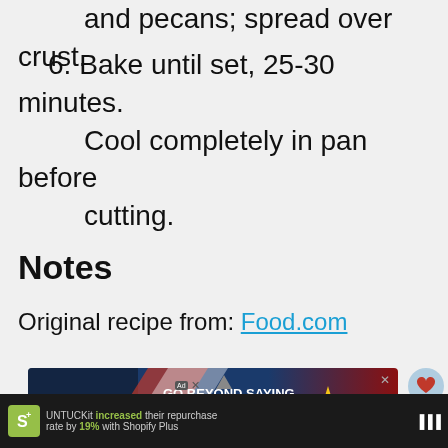and pecans; spread over crust.
6. Bake until set, 25-30 minutes. Cool completely in pan before cutting.
Notes
Original recipe from: Food.com
[Figure (other): Advertisement banner: GO BEYOND SAYING THANK YOU - Operation Gratitude JOIN US]
[Figure (other): Pecan Pie in a Jar product promotion widget]
UNTUCKit increased their repurchase rate by 19% with Shopify Plus